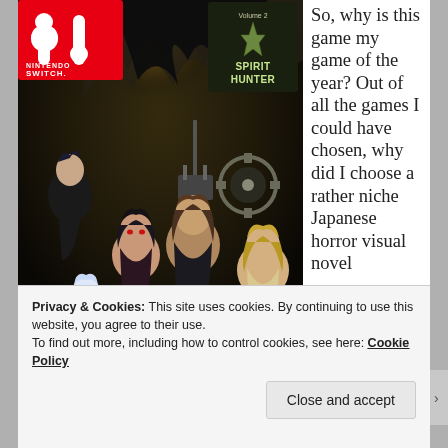[Figure (illustration): Nintendo Switch game cover art for Spirit Hunter (Volume 2) showing anime-style characters in a dark horror setting with a monstrous creature looming above. Nintendo Switch logo in top left corner, Spirit Hunter logo in top right.]
So, why is this game my game of the year? Out of all the games I could have chosen, why did I choose a rather niche Japanese horror visual novel
Privacy & Cookies: This site uses cookies. By continuing to use this website, you agree to their use.
To find out more, including how to control cookies, see here: Cookie Policy
Close and accept